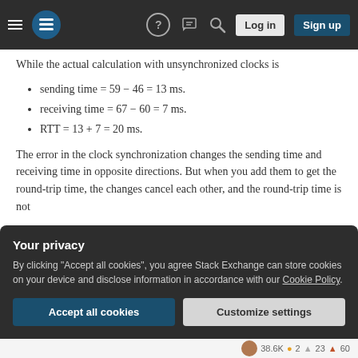Stack Exchange navigation bar with hamburger menu, logo, help, chat, search icons, Log in and Sign up buttons
While the actual calculation with unsynchronized clocks is
sending time = 59 − 46 = 13 ms.
receiving time = 67 − 60 = 7 ms.
RTT = 13 + 7 = 20 ms.
The error in the clock synchronization changes the sending time and receiving time in opposite directions. But when you add them to get the round-trip time, the changes cancel each other, and the round-trip time is not
Your privacy
By clicking "Accept all cookies", you agree Stack Exchange can store cookies on your device and disclose information in accordance with our Cookie Policy.
Accept all cookies   Customize settings